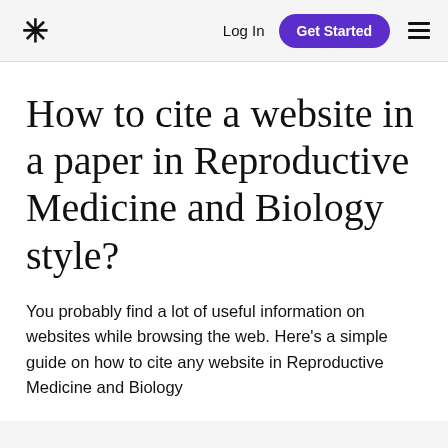* Log In Get Started ☰
How to cite a website in a paper in Reproductive Medicine and Biology style?
You probably find a lot of useful information on websites while browsing the web. Here's a simple guide on how to cite any website in Reproductive Medicine and Biology